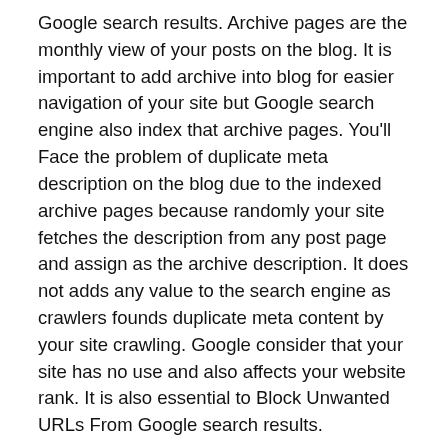Google search results. Archive pages are the monthly view of your posts on the blog. It is important to add archive into blog for easier navigation of your site but Google search engine also index that archive pages. You'll Face the problem of duplicate meta description on the blog due to the indexed archive pages because randomly your site fetches the description from any post page and assign as the archive description. It does not adds any value to the search engine as crawlers founds duplicate meta content by your site crawling. Google consider that your site has no use and also affects your website rank. It is also essential to Block Unwanted URLs From Google search results.
You can check your website for archive pages inside google.
Go to the Google
Inside search bar Type Site:www.yourwebsite.com